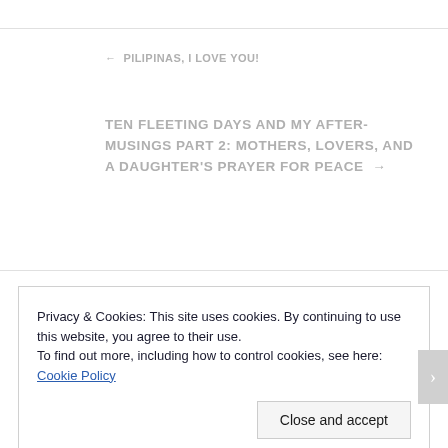← PILIPINAS, I LOVE YOU!
TEN FLEETING DAYS AND MY AFTER-MUSINGS PART 2: MOTHERS, LOVERS, AND A DAUGHTER'S PRAYER FOR PEACE →
Privacy & Cookies: This site uses cookies. By continuing to use this website, you agree to their use.
To find out more, including how to control cookies, see here: Cookie Policy
Close and accept